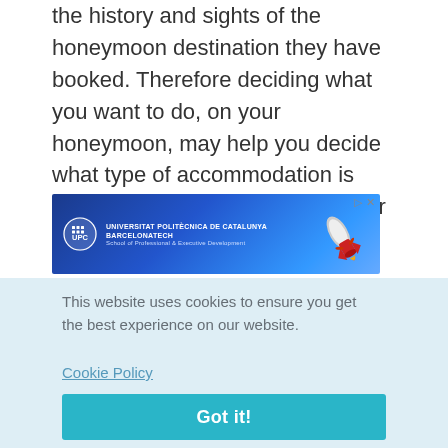the history and sights of the honeymoon destination they have booked. Therefore deciding what you want to do, on your honeymoon, may help you decide what type of accommodation is likely to provide the best option for your requirements.
[Figure (illustration): Advertisement banner for Universitat Politècnica de Catalunya – BarcelonaTech, School of Professional & Executive Development, with a rocket image on a blue background.]
This website uses cookies to ensure you get the best experience on our website.
Cookie Policy
Got it!